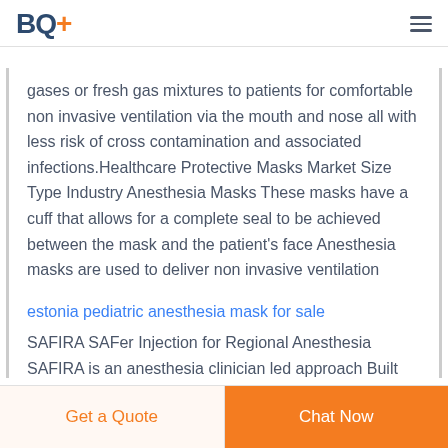BQ+
gases or fresh gas mixtures to patients for comfortable non invasive ventilation via the mouth and nose all with less risk of cross contamination and associated infections.Healthcare Protective Masks Market Size Type Industry Anesthesia Masks These masks have a cuff that allows for a complete seal to be achieved between the mask and the patient's face Anesthesia masks are used to deliver non invasive ventilation
estonia pediatric anesthesia mask for sale
SAFIRA SAFer Injection for Regional Anesthesia SAFIRA is an anesthesia clinician led approach Built